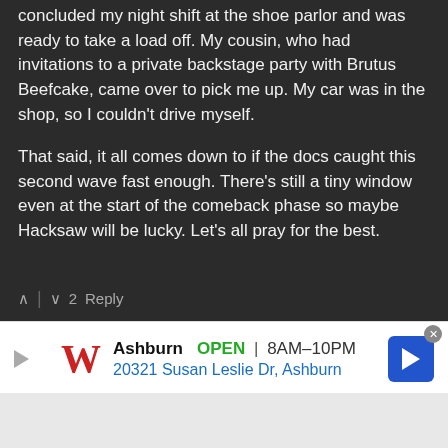concluded my night shift at the shoe parlor and was ready to take a load off. My cousin, who had invitations to a private backstage party with Brutus Beefcake, came over to pick me up. My car was in the shop, so I couldn't drive myself.

That said, it all comes down to if the docs caught this second wave fast enough. There's still a tiny window even at the start of the comeback phase so maybe Hacksaw will be lucky. Let's all pray for the best.
▲ | ▼ 2  Reply
Subscribe  Add Disqus  Do Not Sell My Data    DISQUS
Sponsored
[Figure (photo): Sponsored thumbnail image 1: light bulb on tan background]
[Figure (photo): Sponsored thumbnail image 2: building/structure on sandy/desert background]
Ashburn  OPEN  8AM–10PM  20321 Susan Leslie Dr, Ashburn